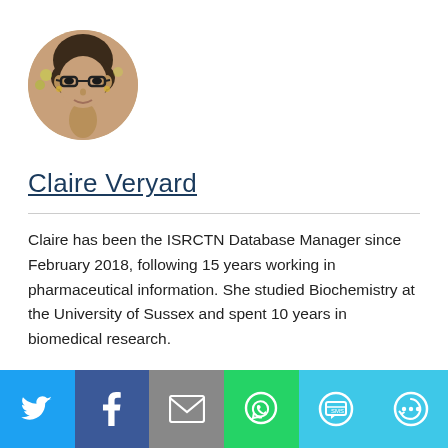[Figure (photo): Circular headshot portrait of Claire Veryard, a woman wearing glasses]
Claire Veryard
Claire has been the ISRCTN Database Manager since February 2018, following 15 years working in pharmaceutical information. She studied Biochemistry at the University of Sussex and spent 10 years in biomedical research.
[Figure (infographic): Social media sharing bar with Twitter, Facebook, Email, WhatsApp, SMS, and More buttons]